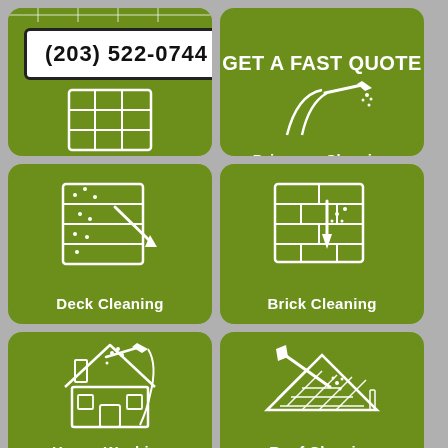(203) 522-0744
GET A FAST QUOTE
[Figure (illustration): Icon of a concrete/tile grid surface with pressure washer spray nozzle]
Concrete Cleaning
[Figure (illustration): Icon of a driveway surface with pressure washer wand spraying]
Driveway Cleaning
[Figure (illustration): Icon of a deck with horizontal boards and pressure washer nozzle cleaning]
Deck Cleaning
[Figure (illustration): Icon of a brick wall with pressure washer nozzle spraying]
Brick Cleaning
[Figure (illustration): Icon of a house with roof being pressure washed]
House Washing
[Figure (illustration): Icon of a roof with diagonal shingles and a pressure washer wand cleaning]
Roof Cleaning